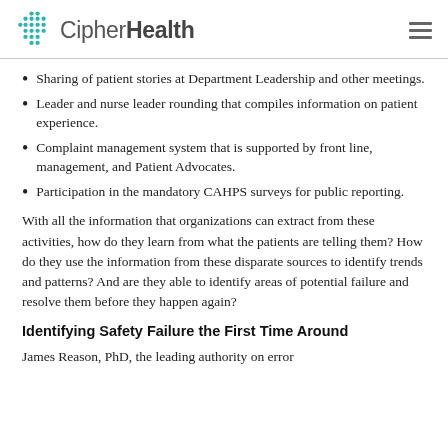CipherHealth
Sharing of patient stories at Department Leadership and other meetings.
Leader and nurse leader rounding that compiles information on patient experience.
Complaint management system that is supported by front line, management, and Patient Advocates.
Participation in the mandatory CAHPS surveys for public reporting.
With all the information that organizations can extract from these activities, how do they learn from what the patients are telling them? How do they use the information from these disparate sources to identify trends and patterns? And are they able to identify areas of potential failure and resolve them before they happen again?
Identifying Safety Failure the First Time Around
James Reason, PhD, the leading authority on error